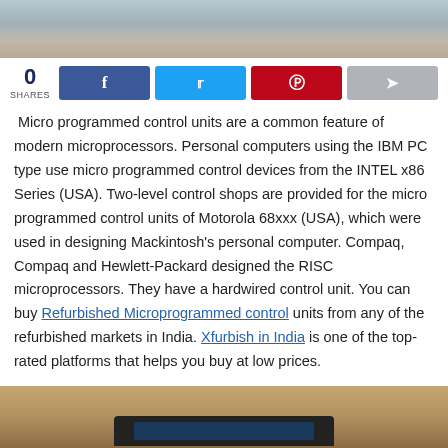[Figure (photo): Top image showing electronic components or circuit boards with colorful wires]
0 SHARES
[Figure (infographic): Social sharing buttons: Facebook, Twitter, Pinterest, and general share button]
Micro programmed control units are a common feature of modern microprocessors. Personal computers using the IBM PC type use micro programmed control devices from the INTEL x86 Series (USA). Two-level control shops are provided for the micro programmed control units of Motorola 68xxx (USA), which were used in designing Mackintosh's personal computer. Compaq, Compaq and Hewlett-Packard designed the RISC microprocessors. They have a hardwired control unit. You can buy Refurbished Microprogrammed control units from any of the refurbished markets in India. Xfurbish in India is one of the top-rated platforms that helps you buy at low prices.
[Figure (photo): Bottom image showing a laptop or computer device on a brown/tan surface]